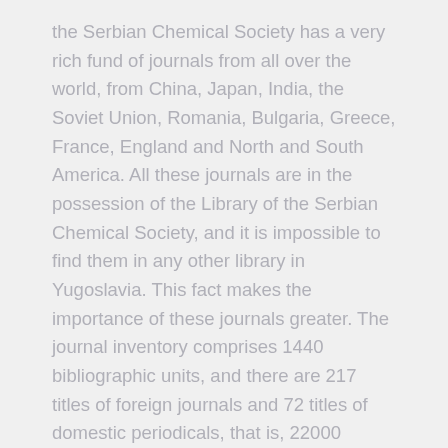the Serbian Chemical Society has a very rich fund of journals from all over the world, from China, Japan, India, the Soviet Union, Romania, Bulgaria, Greece, France, England and North and South America.  All these journals are in the possession of the Library of the Serbian Chemical Society, and it is impossible to find them in any other library in Yugoslavia.  This fact makes the importance of these journals greater.  The journal inventory comprises 1440 bibliographic units, and there are 217 titles of foreign journals and 72 titles of domestic periodicals, that is, 22000 issues of journals.
The oldest foreign journal the Library has is from 1911, the Journal of the American Chemical Society, and the oldest domestic one from 1927, the Archives for Chemistry and Pharmacy.  A larger number of journals were received after 1950, but the